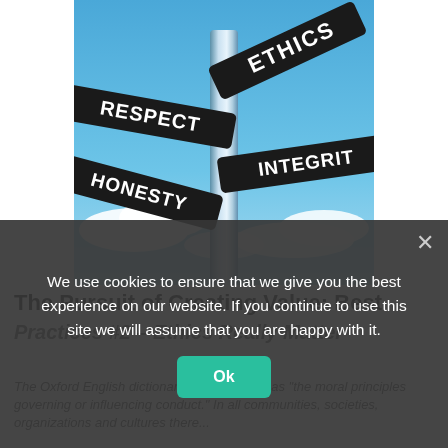[Figure (photo): Street sign post with four directional signs reading ETHICS, RESPECT, HONESTY, and INTEGRITY against a blue sky with clouds]
The Pursuit of Creating Value: Best Practices #2 – Ethics Really Matter
The Oxford English dictionary defines ethics as "the moral principles governing or influencing conduct." In all communities, societies, organizations and cultures there...
We use cookies to ensure that we give you the best experience on our website. If you continue to use this site we will assume that you are happy with it.